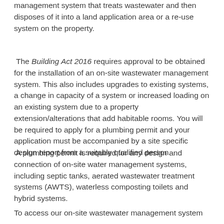management system that treats wastewater and then disposes of it into a land application area or a re-use system on the property.
The Building Act 2016 requires approval to be obtained for the installation of an on-site wastewater management system. This also includes upgrades to existing systems, a change in capacity of a system or increased loading on an existing system due to a property extension/alterations that add habitable rooms. You will be required to apply for a plumbing permit and your application must be accompanied by a site specific design report from a suitably qualified person.
A plumbing permit is required for any design and connection of on-site water management systems, including septic tanks, aerated wastewater treatment systems (AWTS), waterless composting toilets and hybrid systems.
To access our on-site wastewater management system